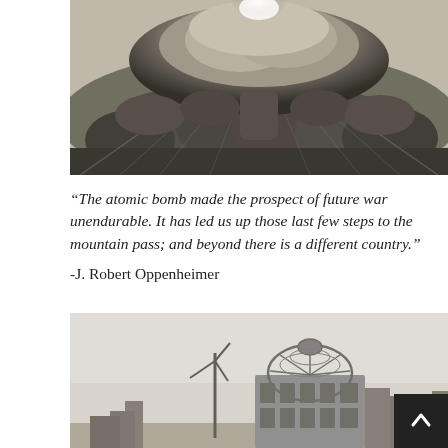[Figure (photo): Black and white photograph of an atomic bomb mushroom cloud explosion viewed from above, with dark billowing smoke and cloud formations against a dramatic sky]
“The atomic bomb made the prospect of future war unendurable. It has led us up those last few steps to the mountain pass; and beyond there is a different country.”
-J. Robert Oppenheimer
[Figure (photo): Black and white photograph of the Hiroshima Peace Memorial (Atomic Bomb Dome / Genbaku Dome), a ruined building with its distinctive skeletal dome structure still standing, with a wind turbine visible to the left, against a light overcast sky]